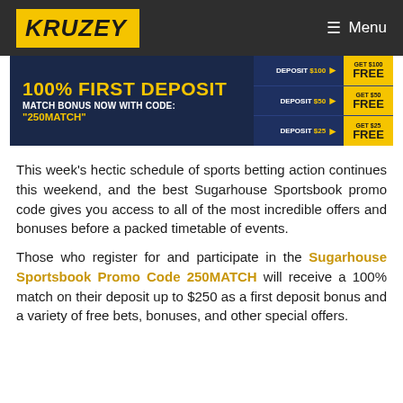KRUZEY | Menu
[Figure (infographic): Promotional banner for Sugarhouse Sportsbook: '100% FIRST DEPOSIT MATCH BONUS NOW WITH CODE: "250MATCH"' with deposit tiers showing DEPOSIT $50 GET $50 FREE and DEPOSIT $25 GET $25 FREE on a dark blue/gold background.]
This week's hectic schedule of sports betting action continues this weekend, and the best Sugarhouse Sportsbook promo code gives you access to all of the most incredible offers and bonuses before a packed timetable of events.
Those who register for and participate in the Sugarhouse Sportsbook Promo Code 250MATCH will receive a 100% match on their deposit up to $250 as a first deposit bonus and a variety of free bets, bonuses, and other special offers.